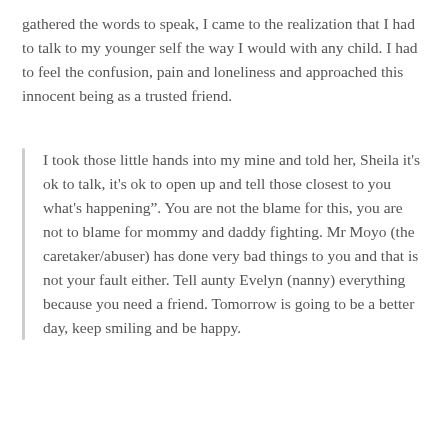gathered the words to speak, I came to the realization that I had to talk to my younger self the way I would with any child. I had to feel the confusion, pain and loneliness and approached this innocent being as a trusted friend.
I took those little hands into my mine and told her, Sheila it's ok to talk, it's ok to open up and tell those closest to you what's happening". You are not the blame for this, you are not to blame for mommy and daddy fighting. Mr Moyo (the caretaker/abuser) has done very bad things to you and that is not your fault either. Tell aunty Evelyn (nanny) everything because you need a friend. Tomorrow is going to be a better day, keep smiling and be happy.